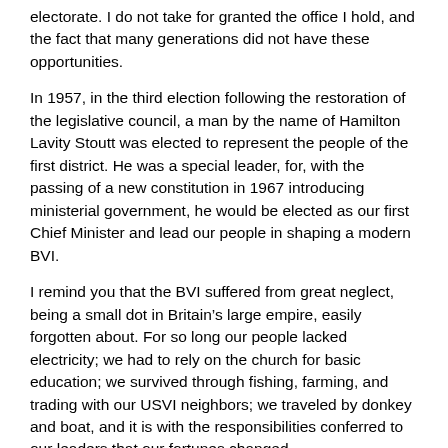electorate.  I do not take for granted the office I hold, and the fact that many generations did not have these opportunities.
In 1957, in the third election following the restoration of the legislative council, a man by the name of Hamilton Lavity Stoutt was elected to represent the people of the first district.  He was a special leader, for, with the passing of a new constitution in 1967 introducing ministerial government, he would be elected as our first Chief Minister and lead our people in shaping a modern BVI.
I remind you that the BVI suffered from great neglect, being a small dot in Britain’s large empire, easily forgotten about.  For so long our people lacked electricity; we had to rely on the church for basic education; we survived through fishing, farming, and trading with our USVI neighbors; we traveled by donkey and boat, and it is with the responsibilities conferred to our leaders that our fortunes changed.
Hamilton Lavity Stoutt, given the length and breadth of his service, given his significant accomplishments, given the